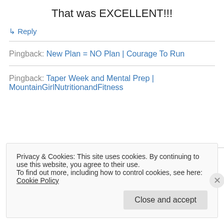That was EXCELLENT!!!
↳ Reply
Pingback: New Plan = NO Plan | Courage To Run
Pingback: Taper Week and Mental Prep | MountainGirlNutritionandFitness
Privacy & Cookies: This site uses cookies. By continuing to use this website, you agree to their use.
To find out more, including how to control cookies, see here: Cookie Policy
Close and accept